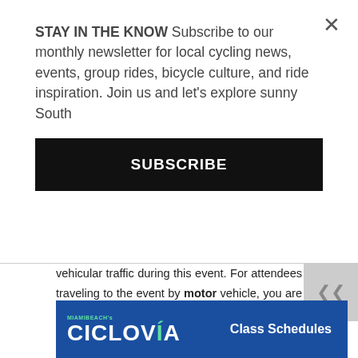STAY IN THE KNOW Subscribe to our monthly newsletter for local cycling news, events, group rides, bicycle culture, and ride inspiration. Join us and let's explore sunny South
SUBSCRIBE
vehicular traffic during this event. For attendees traveling to the event by motor vehicle, you are encouraged to park at the garages on Collins Avenue at 7, 13 and 16 streets.
Don't forget your bikes, skates and skateboards!
RSVP on Facebook event page.  Share your photos online using the hashtag #MBCiclovía
[Figure (illustration): Miami Beach's Ciclovía banner with blue background, green accent text and Class Schedules label]